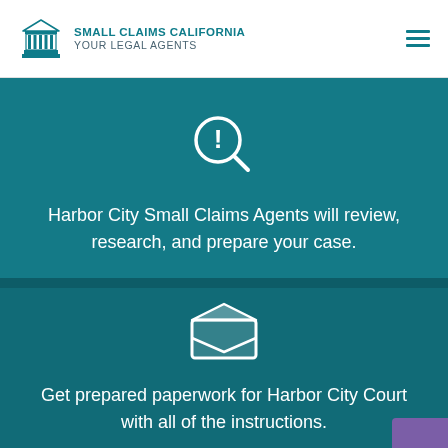SMALL CLAIMS CALIFORNIA YOUR LEGAL AGENTS
[Figure (illustration): Magnifying glass with exclamation mark icon, white outline on teal background]
Harbor City Small Claims Agents will review, research, and prepare your case.
[Figure (illustration): Open envelope / mail icon, white outline on dark teal background]
Get prepared paperwork for Harbor City Court with all of the instructions.